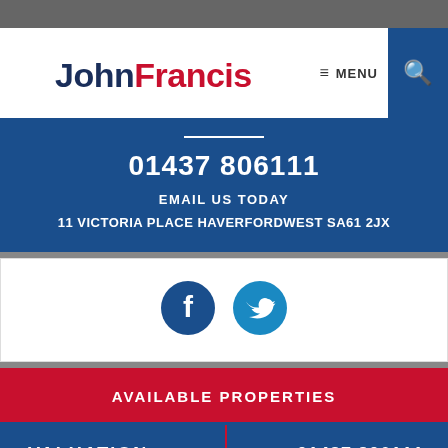[Figure (logo): John Francis estate agency logo with 'John' in navy and 'Francis' in red]
≡ MENU
🔍
01437 806111
EMAIL US TODAY
11 VICTORIA PLACE HAVERFORDWEST SA61 2JX
[Figure (illustration): Facebook and Twitter social media icons in dark blue circular buttons]
AVAILABLE PROPERTIES
VALUATION
01437 806111
PROPERTIES TO LET